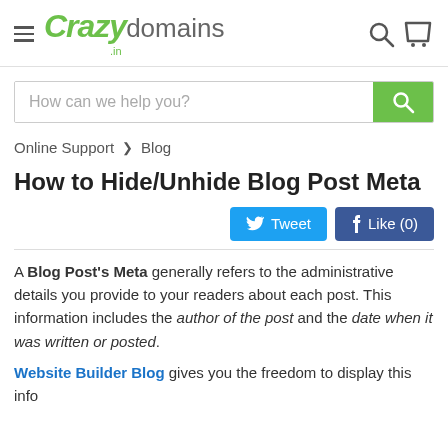[Figure (logo): Crazy Domains .in logo with hamburger menu icon on left and search/cart icons on right]
[Figure (other): Search bar with placeholder 'How can we help you?' and green search button]
Online Support > Blog
How to Hide/Unhide Blog Post Meta
[Figure (other): Tweet and Like (0) social sharing buttons]
A Blog Post's Meta generally refers to the administrative details you provide to your readers about each post. This information includes the author of the post and the date when it was written or posted.
Website Builder Blog gives you the freedom to display this info